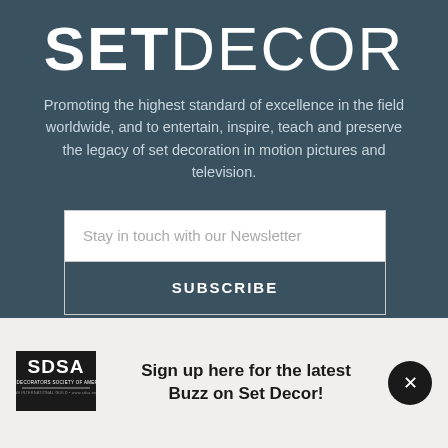SETDECOR
Promoting the highest standard of excellence in the field worldwide, and to entertain, inspire, teach and preserve the legacy of set decoration in motion pictures and television.
Stay in touch with our Newsletter
SUBSCRIBE
Sign up here for the latest Buzz on Set Decor!